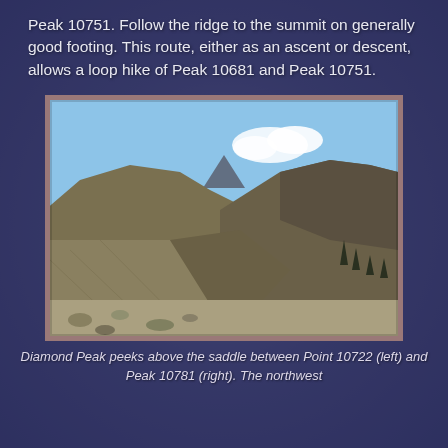Peak 10751. Follow the ridge to the summit on generally good footing. This route, either as an ascent or descent, allows a loop hike of Peak 10681 and Peak 10751.
[Figure (photo): Mountain landscape photo showing Diamond Peak peeking above the saddle between Point 10722 (left) and Peak 10781 (right), with rocky scree slopes, blue sky, and scattered clouds.]
Diamond Peak peeks above the saddle between Point 10722 (left) and Peak 10781 (right). The northwest